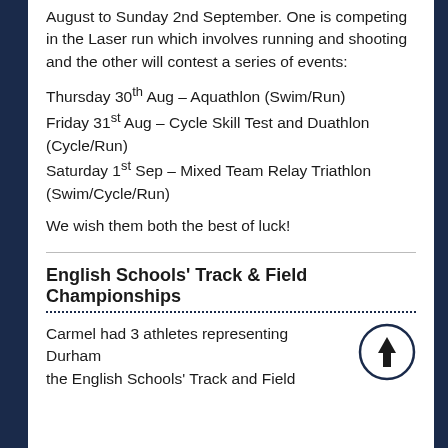August to Sunday 2nd September. One is competing in the Laser run which involves running and shooting and the other will contest a series of events:
Thursday 30th Aug – Aquathlon (Swim/Run)
Friday 31st Aug – Cycle Skill Test and Duathlon (Cycle/Run)
Saturday 1st Sep – Mixed Team Relay Triathlon (Swim/Cycle/Run)
We wish them both the best of luck!
English Schools' Track & Field Championships
Carmel had 3 athletes representing Durham the English Schools' Track and Field